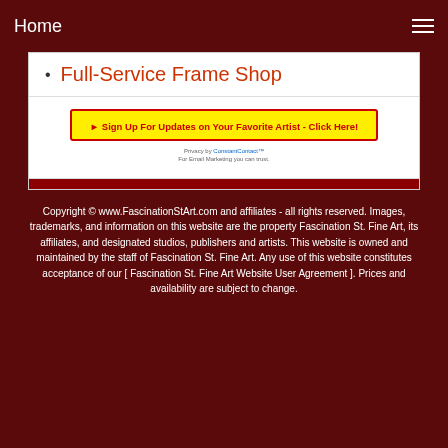Home
Full-Service Frame Shop
[Figure (screenshot): Yellow signup banner with red border reading 'Sign Up For Updates on Your Favorite Artist - Click Here!' with a red arrow/pointer icon, and small privacy text below from ConstantContact]
Copyright © www.FascinationStArt.com and affiliates - all rights reserved. Images, trademarks, and information on this website are the property Fascination St. Fine Art, its affiliates, and designated studios, publishers and artists. This website is owned and maintained by the staff of Fascination St. Fine Art. Any use of this website constitutes acceptance of our [ Fascination St. Fine Art Website User Agreement ]. Prices and availability are subject to change.